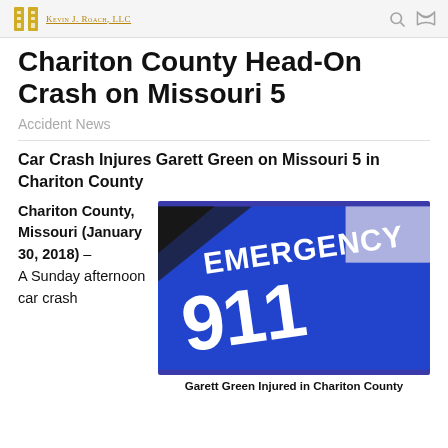Kevin J. Roach, LLC
Chariton County Head-On Crash on Missouri 5
Accident News
Car Crash Injures Garett Green on Missouri 5 in Chariton County
Chariton County, Missouri (January 30, 2018) – A Sunday afternoon car crash
[Figure (photo): Close-up photo of a blue Emergency 911 sign with white text]
Garett Green Injured in Chariton County